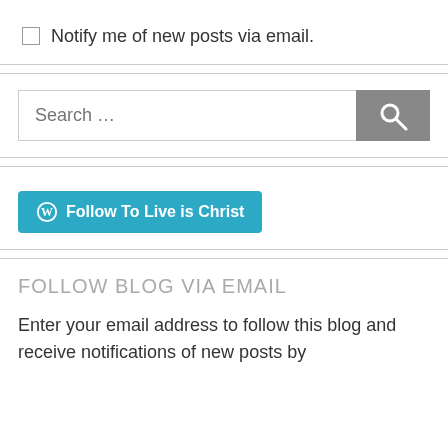Notify me of new posts via email.
[Figure (screenshot): Search input field with placeholder text 'Search ...' and a grey search button with magnifying glass icon]
[Figure (other): Teal/cyan button with WordPress logo icon and text 'Follow To Live is Christ']
FOLLOW BLOG VIA EMAIL
Enter your email address to follow this blog and receive notifications of new posts by